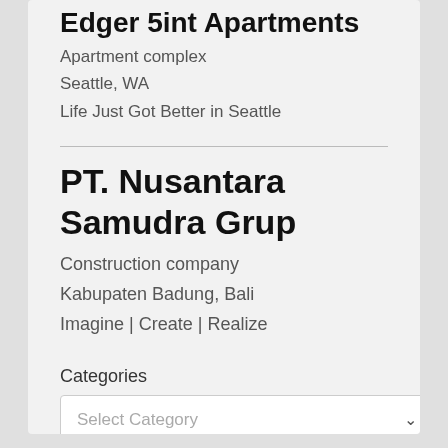Edger 5int Apartments
Apartment complex
Seattle, WA
Life Just Got Better in Seattle
PT. Nusantara Samudra Grup
Construction company
Kabupaten Badung, Bali
Imagine | Create | Realize
Categories
Select Category